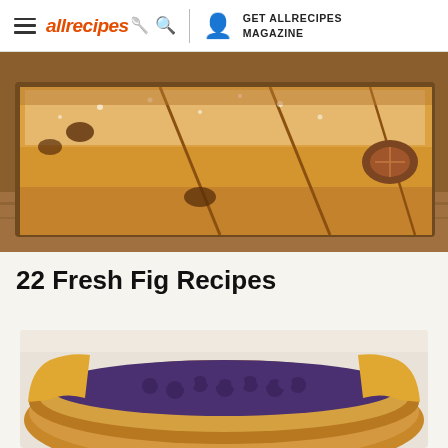allrecipes | GET ALLRECIPES MAGAZINE
[Figure (photo): Close-up photo of sliced fig cake dusted with powdered sugar in a baking pan]
22 Fresh Fig Recipes
[Figure (photo): Close-up of a tart or pastry with purple/blue figs and golden pastry crust seen from the side]